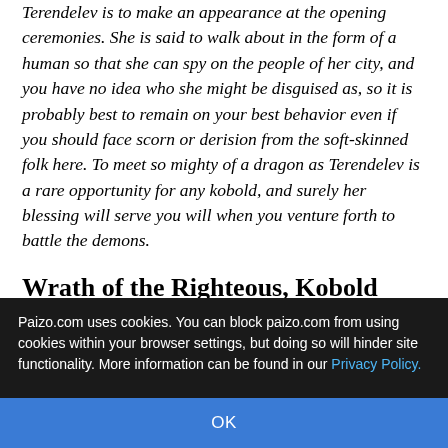Terendelev is to make an appearance at the opening ceremonies. She is said to walk about in the form of a human so that she can spy on the people of her city, and you have no idea who she might be disguised as, so it is probably best to remain on your best behavior even if you should face scorn or derision from the soft-skinned folk here. To meet so mighty of a dragon as Terendelev is a rare opportunity for any kobold, and surely her blessing will serve you will when you venture forth to battle the demons.
Wrath of the Righteous, Kobold Edition
I was considering running this anyway, and since there's interest in an all-kobold campaign, here we
Paizo.com uses cookies. You can block paizo.com from using cookies within your browser settings, but doing so will hinder site functionality. More information can be found in our Privacy Policy.
OK